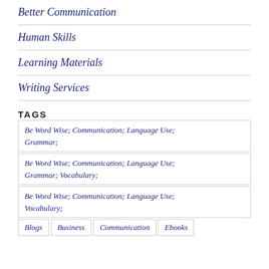Better Communication
Human Skills
Learning Materials
Writing Services
TAGS
Be Word Wise; Communication; Language Use; Grammar;
Be Word Wise; Communication; Language Use; Grammar; Vocabulary;
Be Word Wise; Communication; Language Use; Vocabulary;
Blogs  Business  Communication  Ebooks